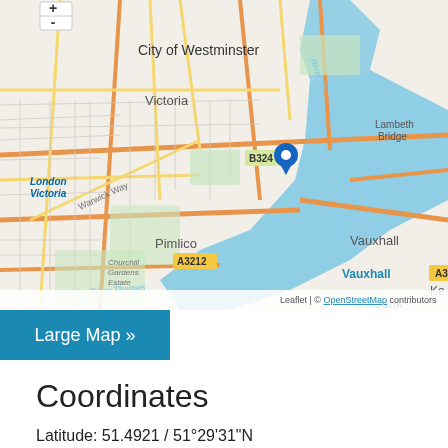[Figure (map): OpenStreetMap map centered on Millbank, London, showing City of Westminster, Victoria, Pimlico, Vauxhall, Lambeth Bridge, River Thames, and surrounding streets. A blue location pin marker is placed at Millbank. Map controls (+/-) visible top left. Attribution: Leaflet | © OpenStreetMap contributors. Road labels include A3036, B324, A3212, A3205, Warwick Way, Churchill Gardens Estate.]
Large Map »
Coordinates
Latitude: 51.4921 / 51°29'31"N
Longitude: -0.1291 / 0°7'44"W